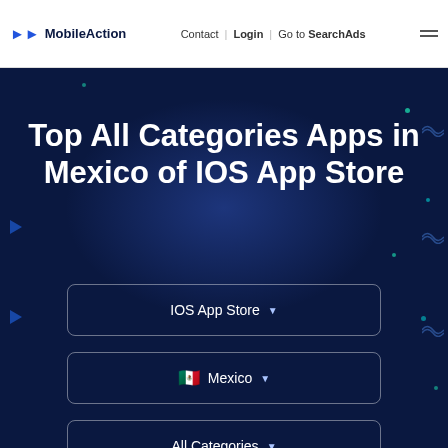MobileAction | Contact | Login | Go to SearchAds
Top All Categories Apps in Mexico of IOS App Store
IOS App Store ▾
🇲🇽 Mexico ▾
All Categories ▾